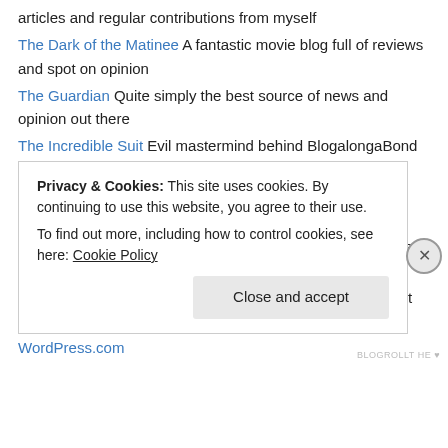articles and regular contributions from myself
The Dark of the Matinee A fantastic movie blog full of reviews and spot on opinion
The Guardian Quite simply the best source of news and opinion out there
The Incredible Suit Evil mastermind behind BlogalongaBond and destroyer of crap films
TomCat in the Red Room The home of superb and funny book reviews. The place to go for a good read
UltraCulture A scathingly accurate take on the cinema’s latest releases that always brings a smile to my face
Whereareyoutony Youtube Videos created by me in ancient times
WordPress.com
Privacy & Cookies: This site uses cookies. By continuing to use this website, you agree to their use. To find out more, including how to control cookies, see here: Cookie Policy